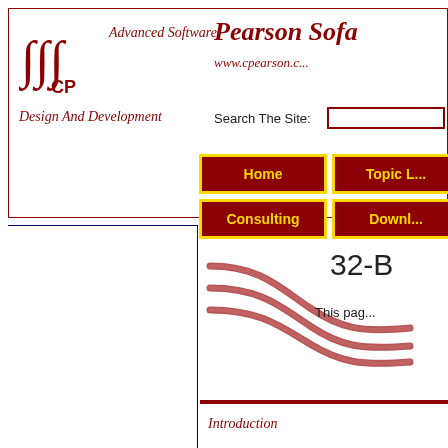Advanced Software  Pearson Software  www.cpearson.c...  Design And Development  Search The Site:
[Figure (logo): CP logo with integral sign symbol]
Pearson Sof...
www.cpearson.c...
Design And Development
Search The Site:
[Figure (screenshot): Navigation buttons: Home, Topic L..., Consulting, Downl...]
[Figure (illustration): Decorative twisted cables/wires illustration in dark red]
32-B
This pag...
Introduction